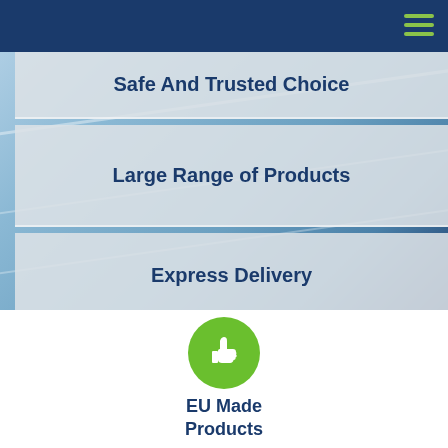[Figure (screenshot): Website header with dark navy blue background and green hamburger menu icon in top right corner]
Safe And Trusted Choice
Large Range of Products
Express Delivery
[Figure (illustration): Green circle with white thumbs up icon]
EU Made Products